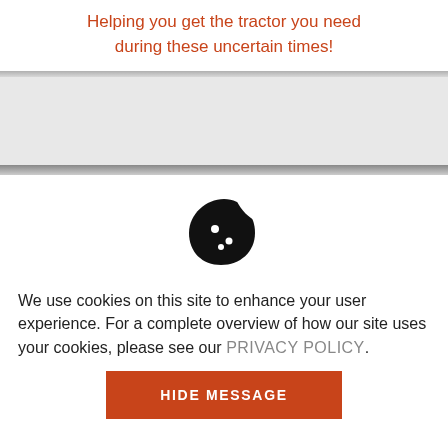Helping you get the tractor you need during these uncertain times!
[Figure (illustration): Cookie consent icon: a bitten cookie with chocolate chip dots, black silhouette]
We use cookies on this site to enhance your user experience. For a complete overview of how our site uses your cookies, please see our PRIVACY POLICY.
HIDE MESSAGE